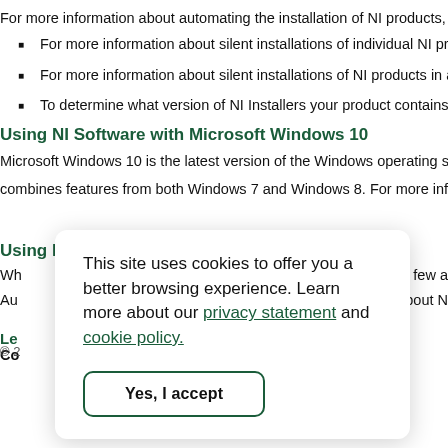For more information about automating the installation of NI products, refer to
For more information about silent installations of individual NI products, r
For more information about silent installations of NI products in a suite, s
To determine what version of NI Installers your product contains, refer to
Using NI Software with Microsoft Windows 10
Microsoft Windows 10 is the latest version of the Windows operating system a combines features from both Windows 7 and Windows 8. For more information
Using NI Software with Microsoft Windows 8.1
Wh few a Au bout N
Le
Co
© 2
[Figure (other): Cookie consent popup overlay with text: 'This site uses cookies to offer you a better browsing experience. Learn more about our privacy statement and cookie policy.' with a 'Yes, I accept' button.]